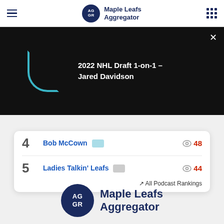Maple Leafs Aggregator
[Figure (screenshot): Video loading overlay on black background with teal spinner arc and white text: 2022 NHL Draft 1-on-1 – Jared Davidson]
4  Bob McCown  48
5  Ladies Talkin' Leafs  44
All Podcast Rankings
[Figure (logo): Maple Leafs Aggregator logo - dark navy circle with AG GR text and Maple Leafs Aggregator wordmark]